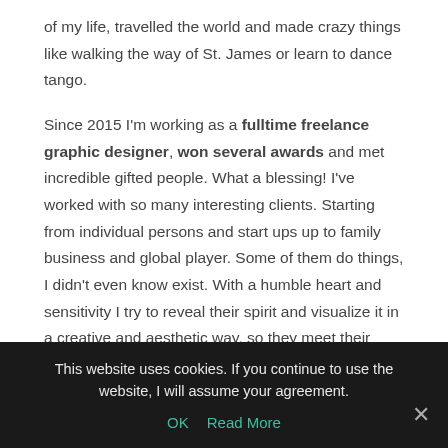of my life, travelled the world and made crazy things like walking the way of St. James or learn to dance tango.
Since 2015 I'm working as a fulltime freelance graphic designer, won several awards and met incredible gifted people. What a blessing! I've worked with so many interesting clients. Starting from individual persons and start ups up to family business and global player. Some of them do things, I didn't even know exist. With a humble heart and sensitivity I try to reveal their spirit and visualize it in a creative and aesthetic way, so they meet their business goals and calling. Sometimes it's like trying to catch the wind but it's so much fun!
This website uses cookies. If you continue to use the website, I will assume your agreement.  OK  Read More